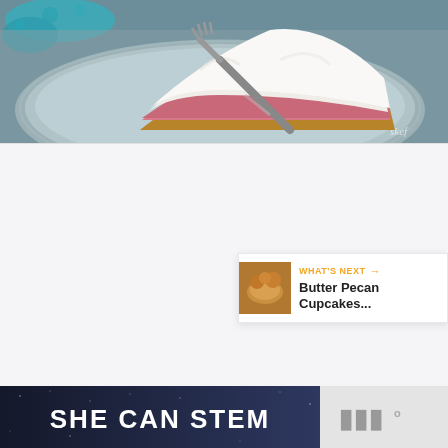[Figure (photo): A slice of pink layered cream pie with white topping on a decorative gray plate, with a fork, on a dark surface with teal lace in background]
[Figure (infographic): White content card with heart (favorite) button in orange and share button in white/gray, carousel navigation dots, and a 'What's Next' card showing Butter Pecan Cupcakes]
WHAT'S NEXT → Butter Pecan Cupcakes...
[Figure (infographic): Dark banner with 'SHE CAN STEM' text in bold white letters]
[Figure (logo): Gray logo with stylized letters and superscript on light gray background]